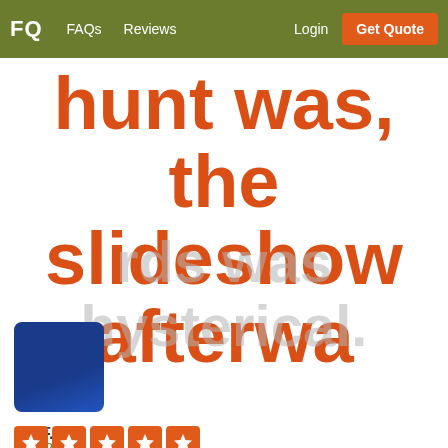FQ  FAQs  Reviews  Login  Get Quote
hunt was, the slideshow afterwa
rds was hysterical.
[Figure (photo): Profile photo of reviewer showing a blue decorative item]
Ed F. ↗
9/23/2019
[Figure (other): Five red star rating boxes]
Used this for my daughters 13th birthday party. 15 kids scurrying around for 2 hours being silly and having fun together. Could not